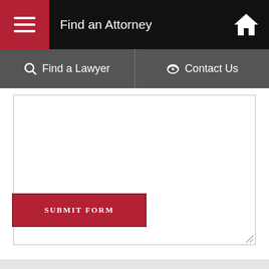Find an Attorney
Find a Lawyer  |  Contact Us
[Figure (screenshot): Empty textarea input field for form submission, with resize handle at bottom right]
SUBMIT FORM